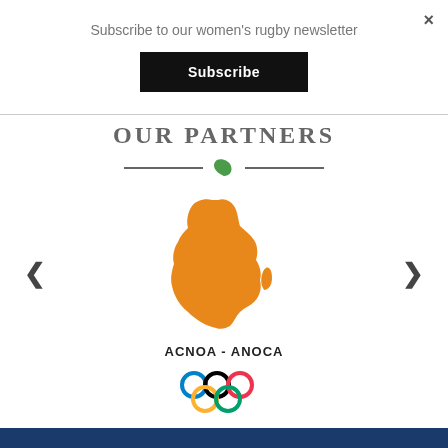×
Subscribe to our women's rugby newsletter
Subscribe
OUR PARTNERS
[Figure (logo): ACNOA - ANOCA logo with orange Africa map silhouette and Olympic rings]